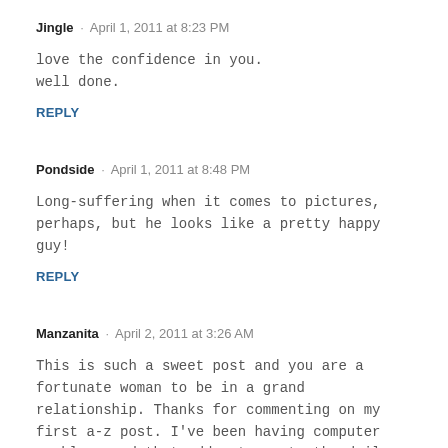Jingle · April 1, 2011 at 8:23 PM
love the confidence in you.
well done.
REPLY
Pondside · April 1, 2011 at 8:48 PM
Long-suffering when it comes to pictures, perhaps, but he looks like a pretty happy guy!
REPLY
Manzanita · April 2, 2011 at 3:26 AM
This is such a sweet post and you are a fortunate woman to be in a grand relationship. Thanks for commenting on my first a-z post. I've been having computer problems and that adds stress to the daily posting. Have a gorgeous weekend with that